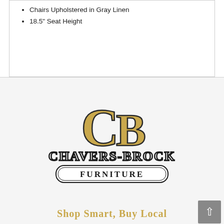Chairs Upholstered in Gray Linen
18.5" Seat Height
[Figure (logo): Chavers-Brock Furniture logo with gold CB monogram letters and text reading CHAVERS-BROCK FURNITURE in a decorative border]
Shop Smart, Buy Local